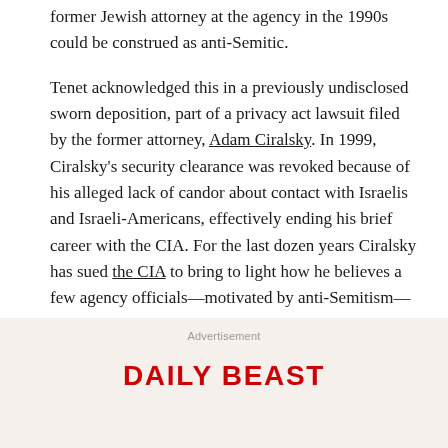former Jewish attorney at the agency in the 1990s could be construed as anti-Semitic.
Tenet acknowledged this in a previously undisclosed sworn deposition, part of a privacy act lawsuit filed by the former attorney, Adam Ciralsky. In 1999, Ciralsky's security clearance was revoked because of his alleged lack of candor about contact with Israelis and Israeli-Americans, effectively ending his brief career with the CIA. For the last dozen years Ciralsky has sued the CIA to bring to light how he believes a few agency officials—motivated by anti-Semitism—targeted him unfairly. On Friday he dropped his case.
Advertisement
[Figure (logo): Daily Beast logo in bold red uppercase letters]